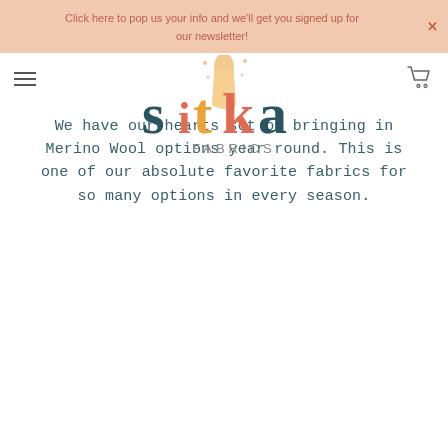Click here to pop us your info and we'll get you signed up for our newsletter!
[Figure (logo): Sitka Fabrics logo with colorful stylized letters and a figure holding fabric, text 'FABRICS' below]
We have our hearts set on bringing in Merino Wool options year round. This is one of our absolute favorite fabrics for so many options in every season.